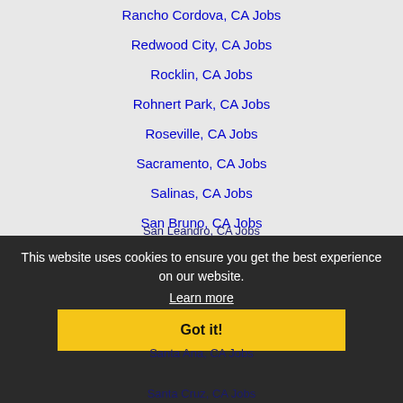Rancho Cordova, CA Jobs
Redwood City, CA Jobs
Rocklin, CA Jobs
Rohnert Park, CA Jobs
Roseville, CA Jobs
Sacramento, CA Jobs
Salinas, CA Jobs
San Bruno, CA Jobs
San Francisco, CA Jobs
San Jose, CA Jobs
San Leandro, CA Jobs
This website uses cookies to ensure you get the best experience on our website.
Learn more
Santa Ana, CA Jobs
Santa Clara, CA Jobs
Santa Cruz, CA Jobs
Santa Rosa, CA Jobs
South San Francisco, CA Jobs